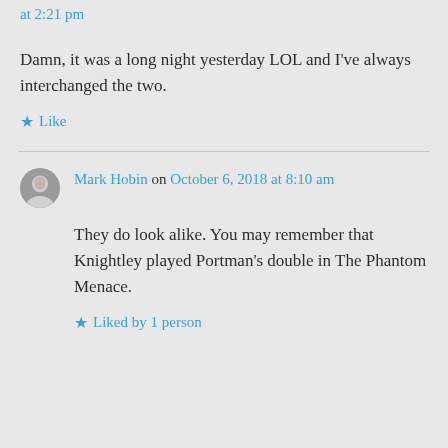at 2:21 pm
Damn, it was a long night yesterday LOL and I've always interchanged the two.
Like
Mark Hobin on October 6, 2018 at 8:10 am
They do look alike. You may remember that Knightley played Portman's double in The Phantom Menace.
Liked by 1 person